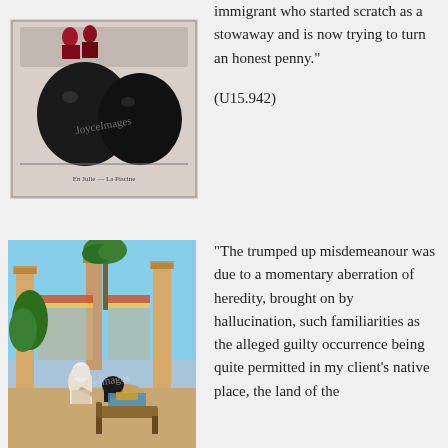[Figure (illustration): Black and white engraving showing a figure with large round objects, with a caption at the bottom. Watermark reads JoyceImages.]
immigrant who started scratch as a stowaway and is now trying to turn an honest penny."
(U15.942)
[Figure (illustration): Colorful illustration of an ancient Egyptian or classical scene with two figures in ornate clothing in a columned hall with palm trees. Watermark reads JoyceImages.]
"The trumped up misdemeanour was due to a momentary aberration of heredity, brought on by hallucination, such familiarities as the alleged guilty occurrence being quite permitted in my client's native place, the land of the...